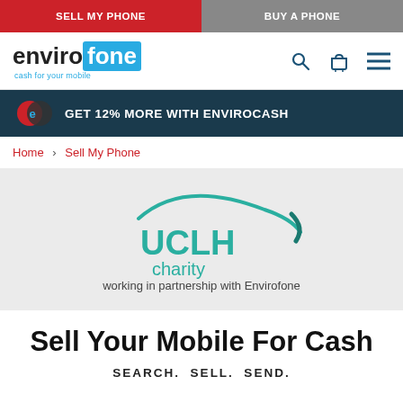SELL MY PHONE | BUY A PHONE
[Figure (logo): Envirofone logo with 'cash for your mobile' tagline and navigation icons]
GET 12% MORE WITH ENVIROCASH
Home > Sell My Phone
[Figure (logo): UCLH Charity logo with arc swoosh and text 'working in partnership with Envirofone']
Sell Your Mobile For Cash
SEARCH.  SELL.  SEND.